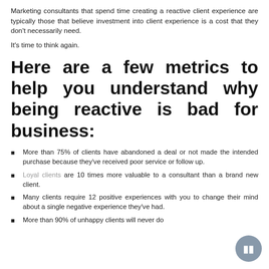Marketing consultants that spend time creating a reactive client experience are typically those that believe investment into client experience is a cost that they don't necessarily need.
It's time to think again.
Here are a few metrics to help you understand why being reactive is bad for business:
More than 75% of clients have abandoned a deal or not made the intended purchase because they've received poor service or follow up.
Loyal clients are 10 times more valuable to a consultant than a brand new client.
Many clients require 12 positive experiences with you to change their mind about a single negative experience they've had.
More than 90% of unhappy clients will never do